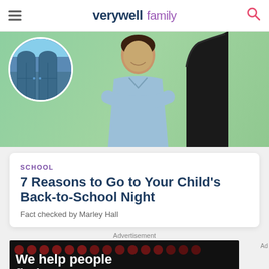verywell family
[Figure (photo): Hero image showing a smiling person in a light blue shirt with arms crossed, with a circular inset showing school doors, and a dark-haired figure on the right, against a green background]
SCHOOL
7 Reasons to Go to Your Child's Back-to-School Night
Fact checked by Marley Hall
Advertisement
[Figure (photo): Advertisement banner with dark background, dark red dots pattern, and text 'We help people find answers' with Dotdash Meredith branding at the bottom]